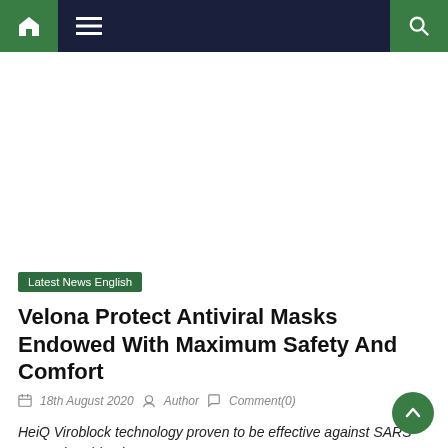Navigation bar with home, menu, and search icons
[Figure (other): White advertisement/banner area]
Latest News English
Velona Protect Antiviral Masks Endowed With Maximum Safety And Comfort
18th August 2020  Author  Comment(0)
HeiQ Viroblock technology proven to be effective against SARS-CoV-2 (Covid-19)*
Velona, a leading brand in the hygiene and clothing segment